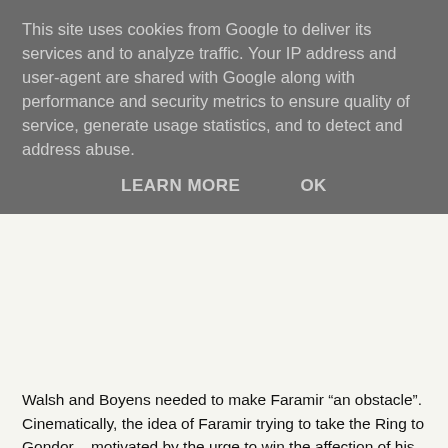This site uses cookies from Google to deliver its services and to analyze traffic. Your IP address and user-agent are shared with Google along with performance and security metrics to ensure quality of service, generate usage statistics, and to detect and address abuse.
LEARN MORE   OK
Walsh and Boyens needed to make Faramir “an obstacle”. Cinematically, the idea of Faramir trying to take the Ring to Gondor – motivated by the urge to win the affection of his distant father – made perfect sense (and Wenham delivers the character very well).
But for many book fans, this was a travesty of a beloved character (for all that Faramir eventually proves his quality). I’ve never met a book fan who wasn’t displeased by “movie Faramir”. For those familiar with the films, there won’t be a problem – but I can see the point. The character is clearly, in a subtle way, different from the more whimsical and unsullied man the book presents.